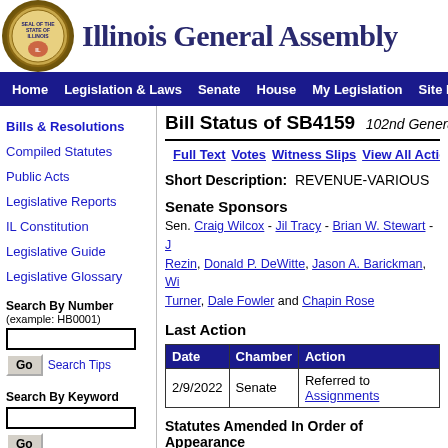Illinois General Assembly
Home | Legislation & Laws | Senate | House | My Legislation | Site Map
Bills & Resolutions
Compiled Statutes
Public Acts
Legislative Reports
IL Constitution
Legislative Guide
Legislative Glossary
Bill Status of SB4159   102nd General Assembly
Full Text   Votes   Witness Slips   View All Actions
Short Description:   REVENUE-VARIOUS
Senate Sponsors
Sen. Craig Wilcox - Jil Tracy - Brian W. Stewart - J... Rezin, Donald P. DeWitte, Jason A. Barickman, Wil... Turner, Dale Fowler and Chapin Rose
Last Action
| Date | Chamber | Action |
| --- | --- | --- |
| 2/9/2022 | Senate | Referred to Assignments |
Statutes Amended In Order of Appearance
30 ILCS 805/6   from
30 ILCS 805/8   from
30 ILCS 805/8.9 new